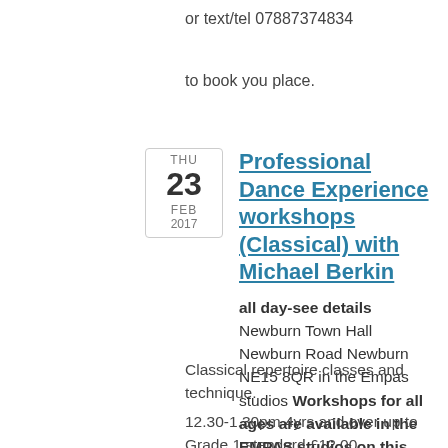or text/tel 07887374834
to book you place.
Professional Dance Experience workshops (Classical) with Michael Berkin
all day-see details   Newburn Town Hall Newburn Road Newburn NE15 8QR in the Empas studios Workshops for all ages are available in the EMPAS studios on this day.
Classical repertoire classes and technique.
12.30-1.30pm 4yrs and over up to Grade 1 standard £12.00